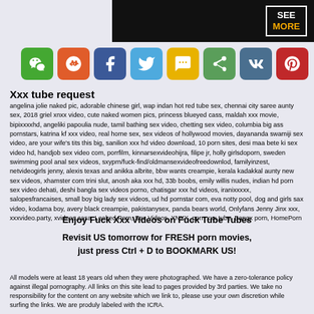[Figure (other): Black banner with SEE MORE text in white and gold, with bracket corners]
[Figure (other): Row of 8 social sharing icon buttons: WeChat (green), Reddit (orange), Facebook (blue), Twitter (light blue), SMS (yellow), Share (green), VK (steel blue), Pinterest (red)]
Xxx tube request
angelina jolie naked pic, adorable chinese girl, wap indan hot red tube sex, chennai city saree aunty sex, 2018 griel xnxx video, cute naked women pics, princess blueyed cass, maldah xxx movie, bipixxxxhd, angeliki papoulia nude, tamil bathing sex video, chetting sex video, columbia big ass pornstars, katrina kf xxx video, real home sex, sex videos of hollywood movies, dayananda swamiji sex video, are your wife's tits this big, sanilion xxx hd video download, 10 porn sites, desi maa bete ki sex video hd, handjob sex video com, porrfilm, kinnarsexvideohijra, filipe jr, holly girlsdoporn, sweden swimming pool anal sex videos, sxyprn/fuck-find/oldmansexvideofreedownlod, familyinzest, netvideogirls jenny, alexis texas and anikka albrite, bbw wants creampie, kerala kadakkal aunty new sex videos, xhamster com trini slut, anosh aka xxx hd, 33b boobs, emily willis nudes, indian hd porn sex video dehati, deshi bangla sex videos porno, chatisgar xxx hd videos, iranixxxxx, salopesfrancaises, small boy big lady sex videos, ud hd pornstar com, eva notty pool, dog and girls sax video, kodama boy, avery black creampie, pakistanysex, panda bears world, Onlyfans Jenny Jinx xxx, xxxvideo.party, xvideos.casa, Leaked Porn, Sex Videos, XNXX, porn xxx tube, Bangx porn, HomePorn
Enjoy Fuck Xxx Videos on Fuck Tube Tubes
Revisit US tomorrow for FRESH porn movies, just press Ctrl + D to BOOKMARK US!
All models were at least 18 years old when they were photographed. We have a zero-tolerance policy against illegal pornography. All links on this site lead to pages provided by 3rd parties. We take no responsibility for the content on any website which we link to, please use your own discretion while surfing the links. We are produly labeled with the ICRA.